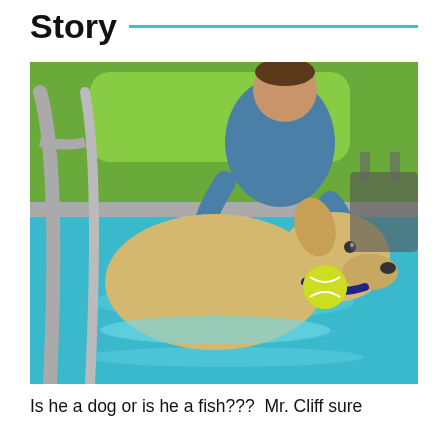Story
[Figure (photo): A man in a blue long-sleeve shirt smiling in a swimming pool, supporting a large yellow Labrador dog that has a bright green tennis ball in its mouth. Pool steps and metal railing visible on the left, green kayak or equipment in the background.]
Is he a dog or is he a fish???  Mr. Cliff sure